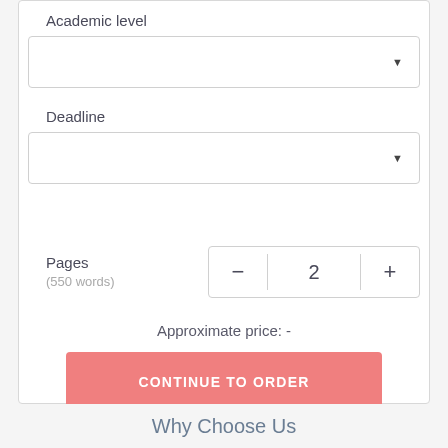Academic level
[Figure (screenshot): Dropdown select box for academic level with down arrow]
Deadline
[Figure (screenshot): Dropdown select box for deadline with down arrow]
Pages
(550 words)
[Figure (screenshot): Page counter widget showing minus button, value 2, plus button]
Approximate price: -
CONTINUE TO ORDER
Why Choose Us